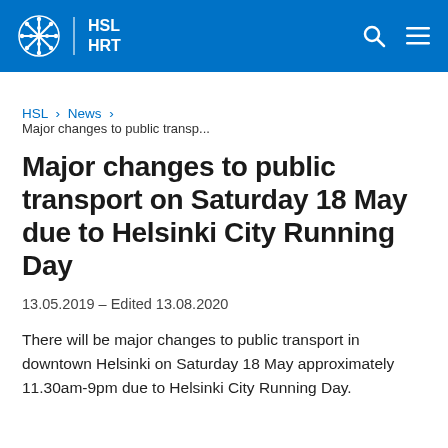HSL HRT
HSL > News >
Major changes to public transp...
Major changes to public transport on Saturday 18 May due to Helsinki City Running Day
13.05.2019 – Edited 13.08.2020
There will be major changes to public transport in downtown Helsinki on Saturday 18 May approximately 11.30am-9pm due to Helsinki City Running Day.